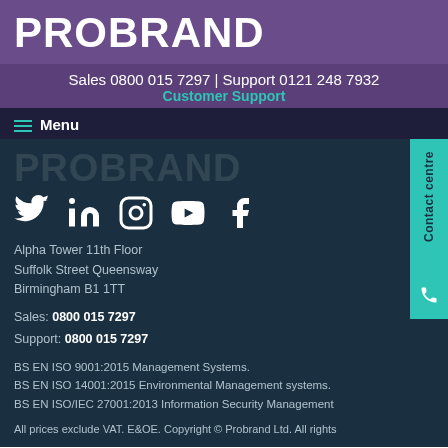PROBRAND
Sales 0800 015 7297 | Support 0121 248 7932
Customer Support
Menu
PROBRAND
[Figure (illustration): Social media icons: Twitter, LinkedIn, Instagram, YouTube, Facebook]
Alpha Tower 11th Floor
Suffolk Street Queensway
Birmingham B1 1TT
Sales: 0800 015 7297
Support: 0800 015 7297
BS EN ISO 9001:2015 Management Systems.
BS EN ISO 14001:2015 Environmental Management systems.
BS EN ISO/IEC 27001:2013 Information Security Management
All prices exclude VAT. E&OE. Copyright © Probrand Ltd. All rights
Contact centre